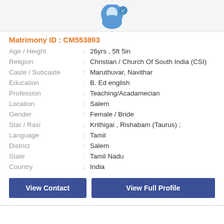[Figure (illustration): Profile image area with blue circular avatar icon at top]
Matrimony ID : CM553893
| Age / Height | : | 26yrs , 5ft 5in |
| Religion | : | Christian / Church Of South India (CSI) |
| Caste / Subcaste | : | Maruthuvar, Navithar |
| Education | : | B. Ed english |
| Profession | : | Teaching/Acadamecian |
| Location | : | Salem |
| Gender | : | Female / Bride |
| Star / Rasi | : | Krithigai , Rishabam (Taurus) ; |
| Language | : | Tamil |
| District | : | Salem |
| State | : | Tamil Nadu |
| Country | : | India |
View Contact
View Full Profile